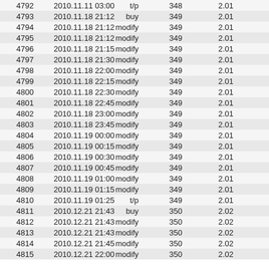| 4792 | 2010.11.11 03:00 | t/p | 348 | 2.01 |  |
| 4793 | 2010.11.18 21:12 | buy | 349 | 2.01 |  |
| 4794 | 2010.11.18 21:12 | modify | 349 | 2.01 |  |
| 4795 | 2010.11.18 21:12 | modify | 349 | 2.01 |  |
| 4796 | 2010.11.18 21:15 | modify | 349 | 2.01 |  |
| 4797 | 2010.11.18 21:30 | modify | 349 | 2.01 |  |
| 4798 | 2010.11.18 22:00 | modify | 349 | 2.01 |  |
| 4799 | 2010.11.18 22:15 | modify | 349 | 2.01 |  |
| 4800 | 2010.11.18 22:30 | modify | 349 | 2.01 |  |
| 4801 | 2010.11.18 22:45 | modify | 349 | 2.01 |  |
| 4802 | 2010.11.18 23:00 | modify | 349 | 2.01 |  |
| 4803 | 2010.11.18 23:45 | modify | 349 | 2.01 |  |
| 4804 | 2010.11.19 00:00 | modify | 349 | 2.01 |  |
| 4805 | 2010.11.19 00:15 | modify | 349 | 2.01 |  |
| 4806 | 2010.11.19 00:30 | modify | 349 | 2.01 |  |
| 4807 | 2010.11.19 00:45 | modify | 349 | 2.01 |  |
| 4808 | 2010.11.19 01:00 | modify | 349 | 2.01 |  |
| 4809 | 2010.11.19 01:15 | modify | 349 | 2.01 |  |
| 4810 | 2010.11.19 01:25 | t/p | 349 | 2.01 |  |
| 4811 | 2010.12.21 21:43 | buy | 350 | 2.02 |  |
| 4812 | 2010.12.21 21:43 | modify | 350 | 2.02 |  |
| 4813 | 2010.12.21 21:43 | modify | 350 | 2.02 |  |
| 4814 | 2010.12.21 21:45 | modify | 350 | 2.02 |  |
| 4815 | 2010.12.21 22:00 | modify | 350 | 2.02 |  |